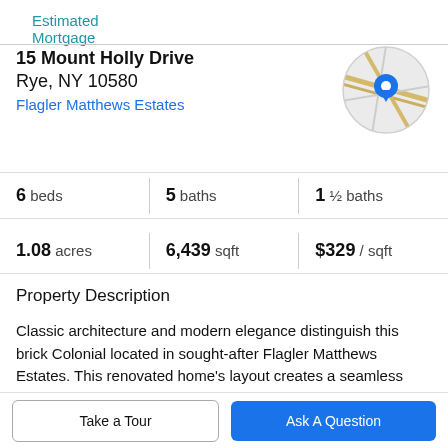Estimated Mortgage
15 Mount Holly Drive
Rye, NY 10580
Flagler Matthews Estates
[Figure (map): Circular map thumbnail showing street map with a blue location pin marker]
| Beds | Baths | Half baths |
| --- | --- | --- |
| 6 beds | 5 baths | 1 ½ baths |
| 1.08 acres | 6,439 sqft | $329 / sqft |
Property Description
Classic architecture and modern elegance distinguish this brick Colonial located in sought-after Flagler Matthews Estates. This renovated home's layout creates a seamless flow for entertaining. An inviting entry foyer with sweeping staircase and marble flooring leads to beautifully appointed
Take a Tour
Ask A Question